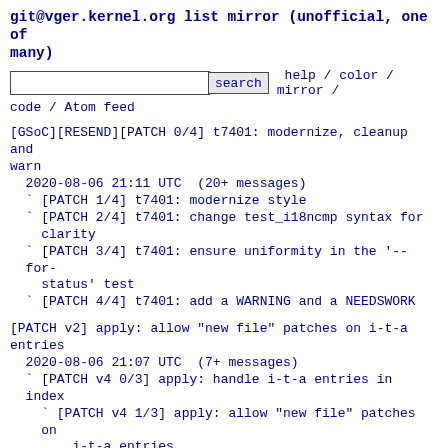git@vger.kernel.org list mirror (unofficial, one of many)
[search input] search  help / color / mirror / code / Atom feed
[GSoC][RESEND][PATCH 0/4] t7401: modernize, cleanup and warn
  2020-08-06 21:11 UTC  (20+ messages)
  ` [PATCH 1/4] t7401: modernize style
  ` [PATCH 2/4] t7401: change test_i18ncmp syntax for clarity
  ` [PATCH 3/4] t7401: ensure uniformity in the '--for-status' test
  ` [PATCH 4/4] t7401: add a WARNING and a NEEDSWORK
[PATCH v2] apply: allow "new file" patches on i-t-a entries
  2020-08-06 21:07 UTC  (7+ messages)
  ` [PATCH v4 0/3] apply: handle i-t-a entries in index
    ` [PATCH v4 1/3] apply: allow "new file" patches on i-t-a entries
      ` [PATCH v4 2/3] apply: make i-t-a entries never match worktree
        ` [PATCH v4 3/3] t4140: test apply with i-t-a paths
[PATCH 0/3] Change "--diff-merges" to require parameter
  2020-08-06 20:52 UTC  (11+ messages)
  ` [PATCH 1/3] revision: change "--diff-merges" option "
  ` [PATCH 2/3] doc/git-log: describe --diff-merges=off